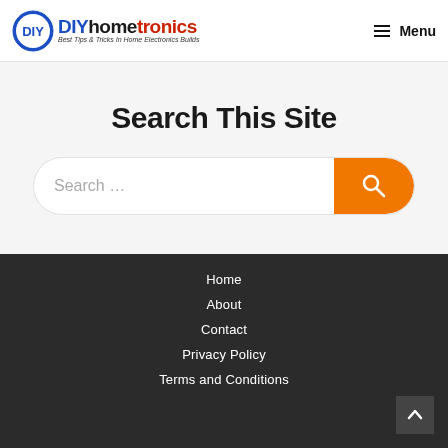DIYhometronics — Best Tips & Tricks In Home Electronics Builds | Menu
Search This Site
Search …
Home
About
Contact
Privacy Policy
Terms and Conditions